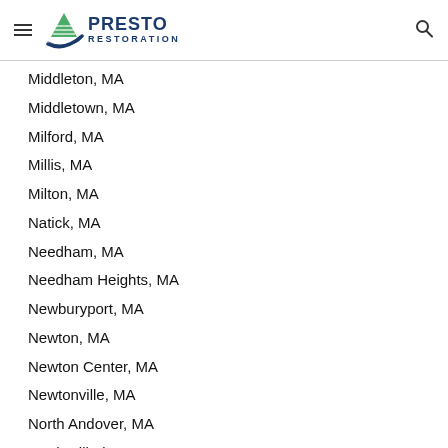Presto Restoration
Middleton, MA
Middletown, MA
Milford, MA
Millis, MA
Milton, MA
Natick, MA
Needham, MA
Needham Heights, MA
Newburyport, MA
Newton, MA
Newton Center, MA
Newtonville, MA
North Andover, MA
North Billerica, MA
North Reading, MA
Norton, MA